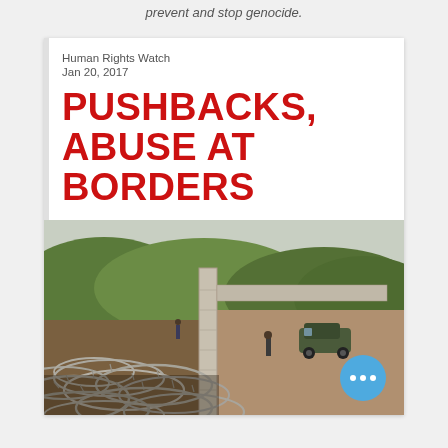prevent and stop genocide.
Human Rights Watch
Jan 20, 2017
PUSHBACKS, ABUSE AT BORDERS
[Figure (photo): A border fence with razor wire in the foreground and a concrete wall with a vehicle and person on the other side, surrounded by green vegetation in the background.]